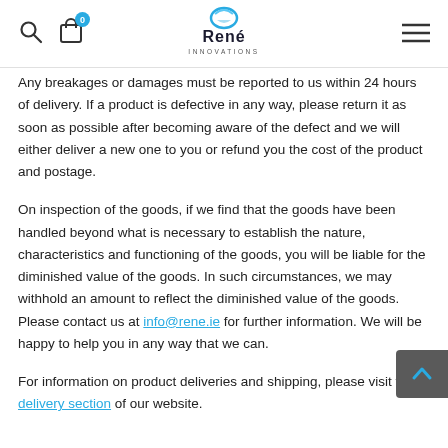René Innovations — navigation header with search, cart (0), logo, hamburger menu
Any breakages or damages must be reported to us within 24 hours of delivery. If a product is defective in any way, please return it as soon as possible after becoming aware of the defect and we will either deliver a new one to you or refund you the cost of the product and postage.
On inspection of the goods, if we find that the goods have been handled beyond what is necessary to establish the nature, characteristics and functioning of the goods, you will be liable for the diminished value of the goods. In such circumstances, we may withhold an amount to reflect the diminished value of the goods. Please contact us at info@rene.ie for further information. We will be happy to help you in any way that we can.
For information on product deliveries and shipping, please visit the delivery section of our website.